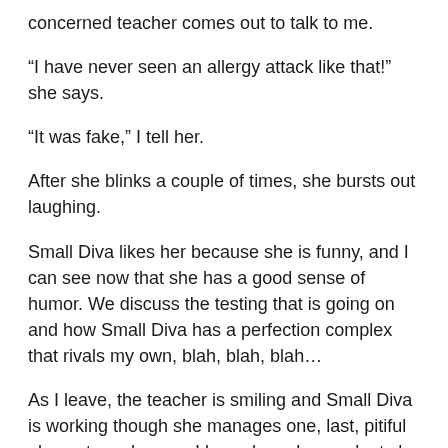concerned teacher comes out to talk to me.
“I have never seen an allergy attack like that!” she says.
“It was fake,” I tell her.
After she blinks a couple of times, she bursts out laughing.
Small Diva likes her because she is funny, and I can see now that she has a good sense of humor. We discuss the testing that is going on and how Small Diva has a perfection complex that rivals my own, blah, blah, blah…
As I leave, the teacher is smiling and Small Diva is working though she manages one, last, pitiful glance to make sure I know how despondent she is.
As I am leaving the building, I am asked several times since Small Diva’s teacher had mentioned it to other…